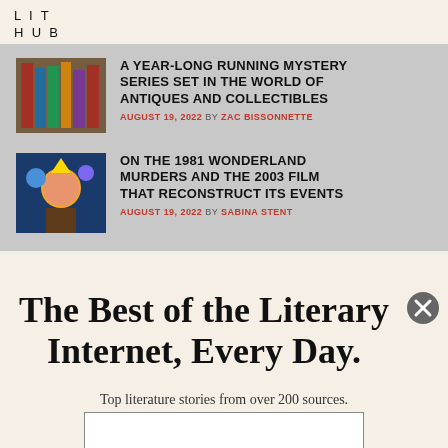LIT HUB
A YEAR-LONG RUNNING MYSTERY SERIES SET IN THE WORLD OF ANTIQUES AND COLLECTIBLES
AUGUST 19, 2022 BY ZAC BISSONNETTE
ON THE 1981 WONDERLAND MURDERS AND THE 2003 FILM THAT RECONSTRUCT ITS EVENTS
AUGUST 19, 2022 BY SABINA STENT
The Best of the Literary Internet, Every Day.
Top literature stories from over 200 sources.
SUBSCRIBE